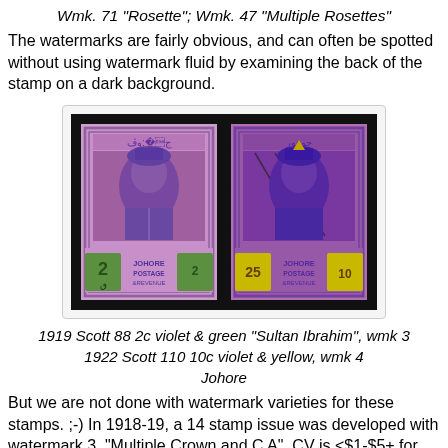Wmk. 71 "Rosette"; Wmk. 47 "Multiple Rosettes"
The watermarks are fairly obvious, and can often be spotted without using watermark fluid by examining the back of the stamp on a dark background.
[Figure (photo): Two Johore postage stamps side by side on dark background. Left: 2c violet and green Sultan Ibrahim stamp. Right: 10c violet and yellow Sultan Ibrahim stamp.]
1919 Scott 88 2c violet & green "Sultan Ibrahim", wmk 3
1922 Scott 110 10c violet & yellow, wmk 4
Johore
But we are not done with watermark varieties for these stamps. ;-) In 1918-19, a 14 stamp issue was developed with watermark 3, "Multiple Crown and C A". CV is <$1-$5+ for six stamps.
Then, between 1921-40, another 26 stamp set was